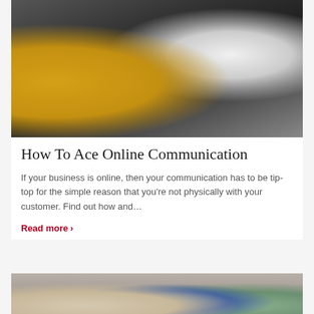[Figure (photo): Overhead view of a cyclist's hands on handlebars with a GPS device mounted, while holding a smartphone showing social media content]
How To Ace Online Communication
If your business is online, then your communication has to be tip-top for the simple reason that you're not physically with your customer. Find out how and…
Read more ›
[Figure (photo): Two people sitting outdoors on a bench, showing legs and lower body]